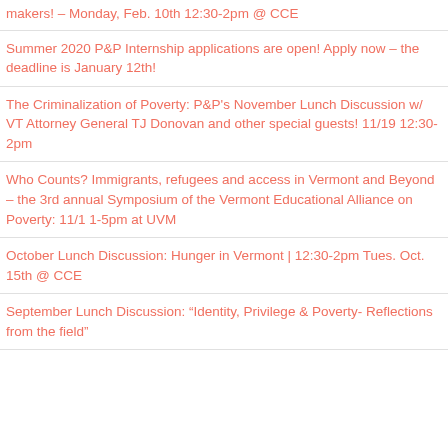makers! – Monday, Feb. 10th 12:30-2pm @ CCE
Summer 2020 P&P Internship applications are open! Apply now – the deadline is January 12th!
The Criminalization of Poverty: P&P's November Lunch Discussion w/ VT Attorney General TJ Donovan and other special guests! 11/19 12:30-2pm
Who Counts? Immigrants, refugees and access in Vermont and Beyond – the 3rd annual Symposium of the Vermont Educational Alliance on Poverty: 11/1 1-5pm at UVM
October Lunch Discussion: Hunger in Vermont | 12:30-2pm Tues. Oct. 15th @ CCE
September Lunch Discussion: "Identity, Privilege & Poverty- Reflections from the field"